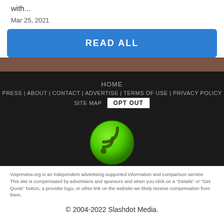with...
Mar 25, 2021
READ ALL
HOME | PRESS | ABOUT | CONTACT | ADVERTISE | TERMS OF USE | PRIVACY POLICY | SITE MAP | OPT OUT
[Figure (logo): Green circular RSS feed icon]
Voipreview.org is an independent advertising-supported information and comparison service. This site is compensated by advertisers and sponsors and when you click on a "Details" or "Get Quote" button, a provider logo, or other link on the website we likely receive compensation from them.
© 2004-2022 Slashdot Media.